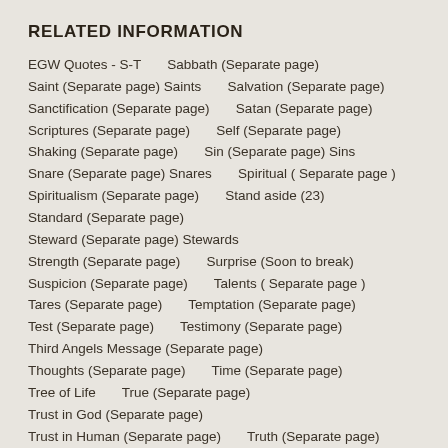RELATED INFORMATION
EGW Quotes - S-T     Sabbath (Separate page)
Saint (Separate page) Saints     Salvation (Separate page)
Sanctification (Separate page)      Satan (Separate page)
Scriptures (Separate page)      Self (Separate page)
Shaking (Separate page)      Sin (Separate page) Sins
Snare (Separate page) Snares      Spiritual ( Separate page )
Spiritualism (Separate page)      Stand aside (23)
Standard (Separate page)
Steward (Separate page) Stewards
Strength (Separate page)      Surprise (Soon to break)
Suspicion (Separate page)      Talents ( Separate page )
Tares (Separate page)      Temptation (Separate page)
Test (Separate page)      Testimony (Separate page)
Third Angels Message (Separate page)
Thoughts (Separate page)      Time (Separate page)
Tree of Life      True (Separate page)
Trust in God (Separate page)
Trust in Human (Separate page)      Truth (Separate page)